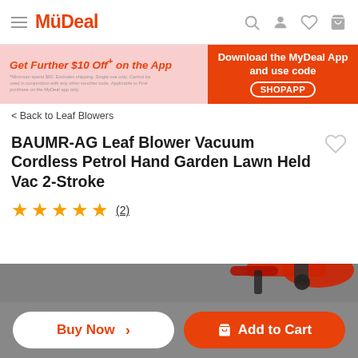MyDeal
[Figure (screenshot): Promotional banner: Get Further $10 Off+ on the App. Download the MyDeal App and use code SHOPAPP.]
< Back to Leaf Blowers
BAUMR-AG Leaf Blower Vacuum Cordless Petrol Hand Garden Lawn Held Vac 2-Stroke
★★★★★ (2)
[Figure (photo): Product image of a red and black leaf blower/vacuum tool.]
Buy Now > | Add to Cart